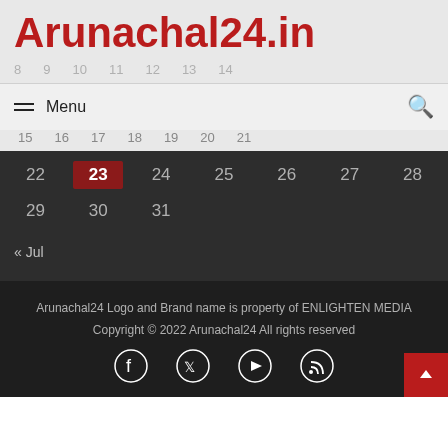Arunachal24.in
≡ Menu
| 22 | 23 | 24 | 25 | 26 | 27 | 28 |
| 29 | 30 | 31 |  |  |  |  |
« Jul
Arunachal24 Logo and Brand name is property of ENLIGHTEN MEDIA
Copyright © 2022 Arunachal24 All rights reserved